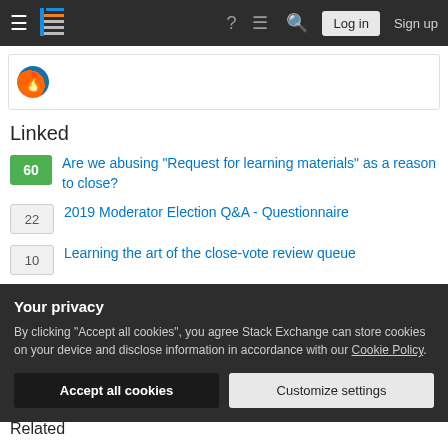Stack Exchange navigation bar with Log in and Sign up buttons
[Figure (screenshot): User avatar icon partially visible in a card]
Linked
60 Are we abusing "Request for learning materials" as a reason to close?
22 2019 Moderator Election Q&A - Questionnaire
10 Learning the art of the close-vote review queue
7 How should we word the off-topic reason for learning material?
8 Add specific close reason and explicit point in the help pages
Your privacy
By clicking "Accept all cookies", you agree Stack Exchange can store cookies on your device and disclose information in accordance with our Cookie Policy.
Related